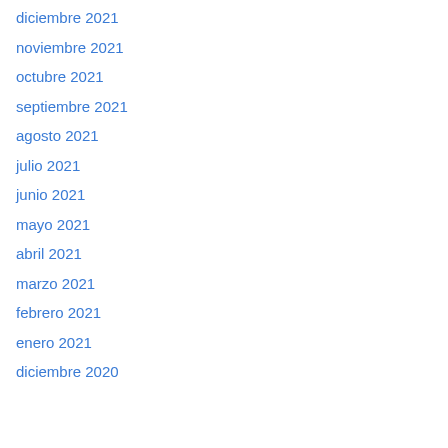diciembre 2021
noviembre 2021
octubre 2021
septiembre 2021
agosto 2021
julio 2021
junio 2021
mayo 2021
abril 2021
marzo 2021
febrero 2021
enero 2021
diciembre 2020